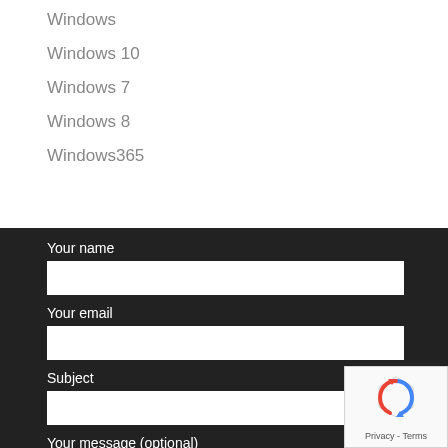Windows
Windows 10
Windows 7
Windows 8
Windows365
Your name
Your email
Subject
Your message (optional)